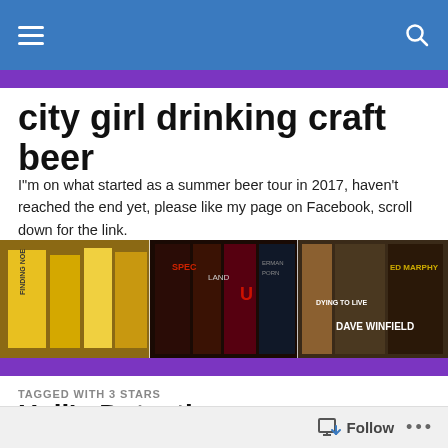city girl drinking craft beer (navigation bar with menu and search)
city girl drinking craft beer
I"m on what started as a summer beer tour in 2017, haven't reached the end yet, please like my page on Facebook, scroll down for the link.
[Figure (photo): A photo strip showing book spines arranged side by side, including yellow books and various colorful book covers.]
TAGGED WITH 3 STARS
Hell's Detective